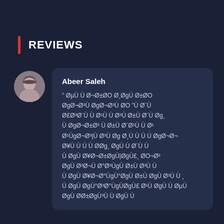REVIEWS
Abeer Saleh
" Ø§Ù Ù Ø¬Ø±ØO Ø¸ØgÙ Ø±ØO ØgØ¬Ø³Ù ØgØµÙ ØO "Ù Ø¨Ù Ø£Ø³Ø¨Ù Ù Ø¹Ù Ù Ø³Ù Ø±Ù Ø¨Ù Øg¸ Ù ØgØ¬Ø±Ø³ Ù Ø±Ù Ø¨Ø¹Ù Ù Ø¹ Ø¹ÙgØ¬Ø³|Ù Ø³Ù Øg ØgÙ Ø¸ ØeÙ Ù Ù Ù ØgØ¬Ø¬ Ø¥Ù Ù Ù Ù Ø­Øg¸ ØgÙ Ù Ø¨Ù Ù ØgÙ Ø¥Ø¬Ø±ØgÙ|ØgÙ Ø¹Ø°Ø±ØgÙ¸ ØO¬Ø² ØgÙ Ø°Ù Ù Ù ØgÙ Ø£Ù Ø· ØgÙ Ø¹Ù Ø°Ù Ø ØgÙ Ø³Ø¬Ù Ø¹Ø·Ø°ÙgÙgÙ£¸ ØO¬Ø² ØgÙ Ø³Ù Ù gÙ Ø£Ù ØgÙ Ù Ø¥Ù ÙgÙ ØgÙ Ù Ø¥Ù